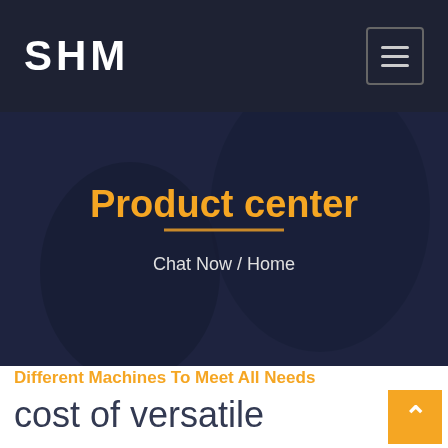SHM
[Figure (screenshot): Hero banner section with dark overlay showing a handshake silhouette in background]
Product center
Chat Now  /  Home
Different Machines To Meet All Needs
cost of versatile